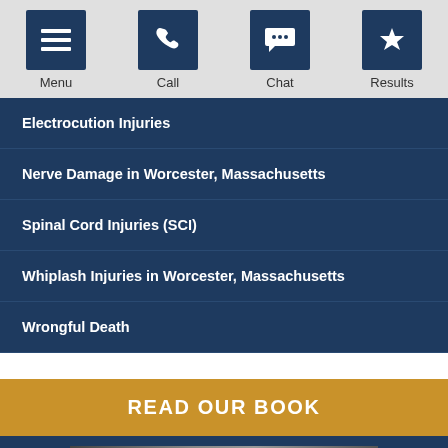Menu | Call | Chat | Results
Electrocution Injuries
Nerve Damage in Worcester, Massachusetts
Spinal Cord Injuries (SCI)
Whiplash Injuries in Worcester, Massachusetts
Wrongful Death
READ OUR BOOK
[Figure (photo): Book cover image partially visible at bottom]